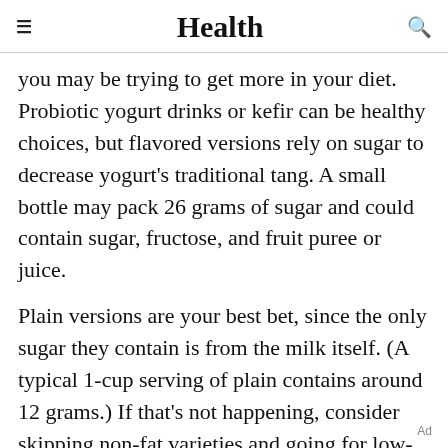Health
you may be trying to get more in your diet. Probiotic yogurt drinks or kefir can be healthy choices, but flavored versions rely on sugar to decrease yogurt's traditional tang. A small bottle may pack 26 grams of sugar and could contain sugar, fructose, and fruit puree or juice.
Plain versions are your best bet, since the only sugar they contain is from the milk itself. (A typical 1-cup serving of plain contains around 12 grams.) If that's not happening, consider skipping non-fat varieties and going for low-fat instead. In one popular brand, making that
Ad